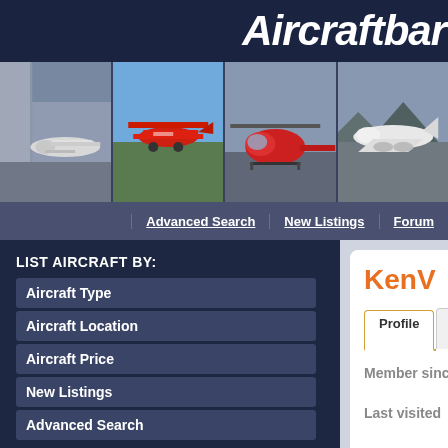Aircraftbar...
[Figure (photo): Strip of four aircraft photos: small propeller plane in hangar, red biplane on runway, red helicopter on tarmac, white jet aircraft]
Advanced Search | New Listings | Forum...
LIST AIRCRAFT BY:
Aircraft Type
Aircraft Location
Aircraft Price
New Listings
Advanced Search
FORUMS:
Aircraft wanted
Engines & parts
Avionics
Employment
Partnerships
KenV
Profile | Bio | Recent Posts | Shared Fa...
Member since  11/29/2004 12:50:5...
Last visited   1/14/2008 7:35:53